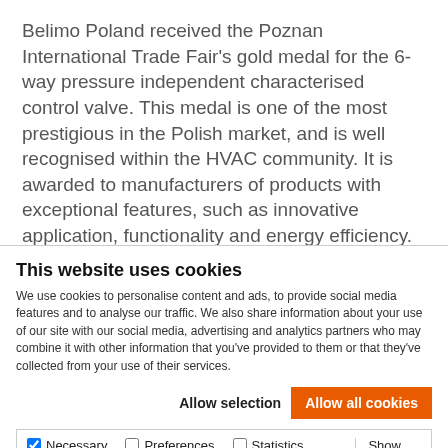Belimo Poland received the Poznan International Trade Fair's gold medal for the 6-way pressure independent characterised control valve. This medal is one of the most prestigious in the Polish market, and is well recognised within the HVAC community. It is awarded to manufacturers of products with exceptional features, such as innovative application, functionality and energy efficiency. The award committee consists of leading academics as well as industry
This website uses cookies
We use cookies to personalise content and ads, to provide social media features and to analyse our traffic. We also share information about your use of our site with our social media, advertising and analytics partners who may combine it with other information that you've provided to them or that they've collected from your use of their services.
Allow selection | Allow all cookies
Necessary | Preferences | Statistics | Marketing | Show details